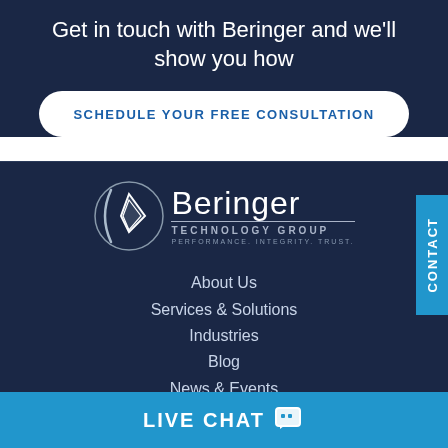Get in touch with Beringer and we'll show you how
SCHEDULE YOUR FREE CONSULTATION
[Figure (logo): Beringer Technology Group logo with diamond/arrow graphic, text 'Beringer TECHNOLOGY GROUP', tagline 'PERFORMANCE. INTEGRITY. TRUST.']
About Us
Services & Solutions
Industries
Blog
News & Events
Contact Us
LIVE CHAT